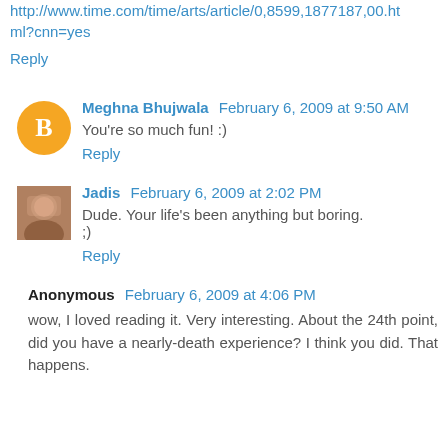http://www.time.com/time/arts/article/0,8599,1877187,00.html?cnn=yes
Reply
Meghna Bhujwala  February 6, 2009 at 9:50 AM
You're so much fun! :)
Reply
Jadis  February 6, 2009 at 2:02 PM
Dude. Your life's been anything but boring.
;)
Reply
Anonymous  February 6, 2009 at 4:06 PM
wow, I loved reading it. Very interesting. About the 24th point, did you have a nearly-death experience? I think you did. That happens.